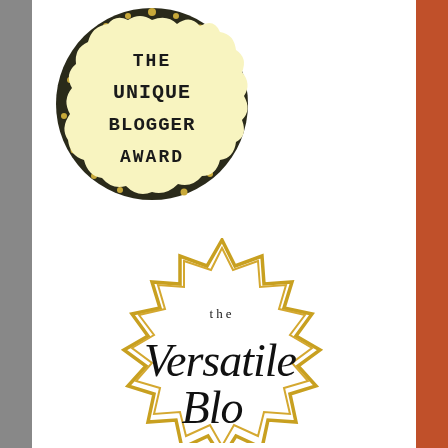[Figure (illustration): The Unique Blogger Award badge: a circular emblem with scalloped/cloud-like yellow border decorated with dark foliage and gold dots, containing the text 'THE UNIQUE BLOGGER AWARD' in bold black serif capitals on a pale yellow background.]
[Figure (illustration): The Versatile Blogger Award badge: a starburst/seal shape with gold zigzag border, containing the text 'the Versatile Blo...' in black script and small caps on white background.]